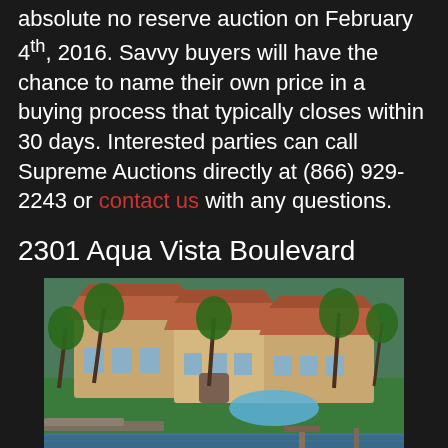absolute no reserve auction on February 4th, 2016. Savvy buyers will have the chance to name their own price in a buying process that typically closes within 30 days. Interested parties can call Supreme Auctions directly at (866) 929-2243 or contact us with any questions.
2301 Aqua Vista Boulevard
[Figure (photo): Aerial view of a Mediterranean-style luxury estate at 2301 Aqua Vista Boulevard, featuring terracotta tile roofs, lush palm trees and tropical landscaping, a pool, and waterfront access with a dock on a canal.]